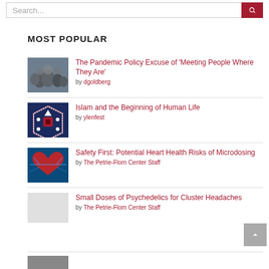Search...
MOST POPULAR
The Pandemic Policy Excuse of 'Meeting People Where They Are' by dgoldberg
Islam and the Beginning of Human Life by ylenfest
Safety First: Potential Heart Health Risks of Microdosing by The Petrie-Flom Center Staff
Small Doses of Psychedelics for Cluster Headaches by The Petrie-Flom Center Staff